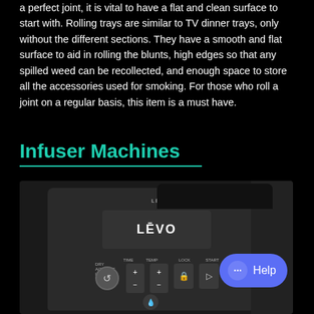a perfect joint, it is vital to have a flat and clean surface to start with. Rolling trays are similar to TV dinner trays, only without the different sections. They have a smooth and flat surface to aid in rolling the blunts, high edges so that any spilled weed can be recollected, and enough space to store all the accessories used for smoking. For those who roll a joint on a regular basis, this item is a must have.
Infuser Machines
[Figure (photo): A LEVO infuser machine, a dark grey electronic appliance with a display screen showing the LEVO logo and control buttons. A blue Help chat button is overlaid in the bottom right corner.]